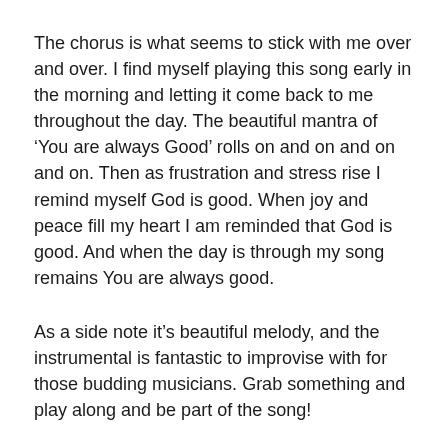The chorus is what seems to stick with me over and over. I find myself playing this song early in the morning and letting it come back to me throughout the day. The beautiful mantra of ‘You are always Good’ rolls on and on and on and on. Then as frustration and stress rise I remind myself God is good. When joy and peace fill my heart I am reminded that God is good. And when the day is through my song remains You are always good.
As a side note it’s beautiful melody, and the instrumental is fantastic to improvise with for those budding musicians. Grab something and play along and be part of the song!
As always I hope this song blesses you,
Much love